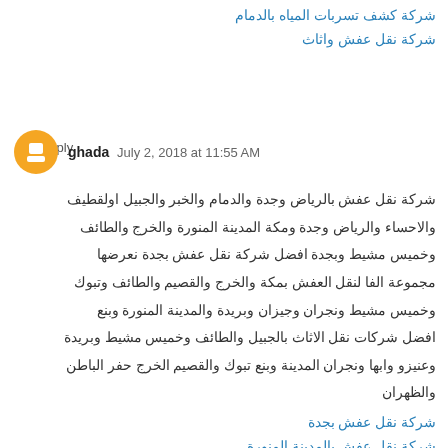شركة كشف تسربات المياه بالدمام
شركة نقل عفش واثاث
Reply
ghada  July 2, 2018 at 11:55 AM
شركة نقل عفش بالرياض وجدة والدمام والخبر والجبيل اولقطيف والاحساء والرياض وجدة ومكة المدينة المنورة والخرج والطائف وخميس مشيط وبجدة افضل شركة نقل عفش بجدة نعرضها مجموعة الفا لنقل العفش بمكة والخرج والقصيم والطائف وتبوك وخميس مشيط ونجران وجيزان وبريدة والمدينة المنورة وبنع افضل شركات نقل الاثاث بالجبيل والطائف وخميس مشيط وبريدة وعنيزو وابها ونجران المدينة وبنع تبوك والقصيم الخرج حفر الباطن والظهران
شركة نقل عفش بجدة
شركة نقل عفش بالمدينة المنورة
شركة نقل اثاث بالرياض
شركة نقل عفش بالدمام